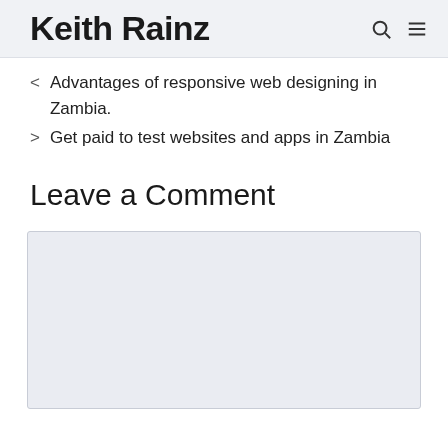Keith Rainz
< Advantages of responsive web designing in Zambia.
> Get paid to test websites and apps in Zambia
Leave a Comment
[Figure (other): Comment text area input box with light grey background]